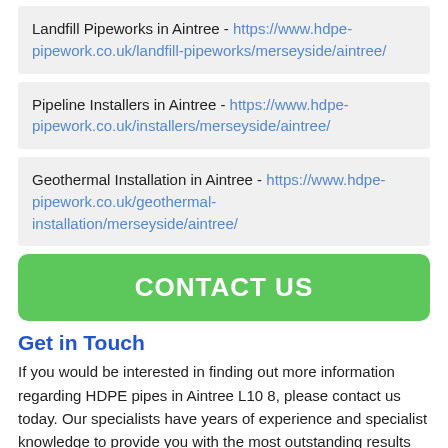Landfill Pipeworks in Aintree - https://www.hdpe-pipework.co.uk/landfill-pipeworks/merseyside/aintree/
Pipeline Installers in Aintree - https://www.hdpe-pipework.co.uk/installers/merseyside/aintree/
Geothermal Installation in Aintree - https://www.hdpe-pipework.co.uk/geothermal-installation/merseyside/aintree/
[Figure (other): Green CONTACT US button]
Get in Touch
If you would be interested in finding out more information regarding HDPE pipes in Aintree L10 8, please contact us today. Our specialists have years of experience and specialist knowledge to provide you with the most outstanding results that suit your needs. Just enter your details into the enquiry form provided, and a member of our team will get back to you as soon as possible with